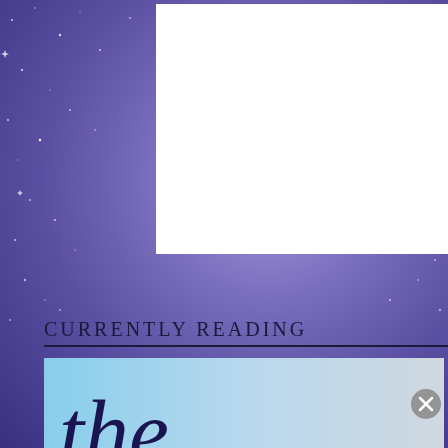[Figure (photo): White rectangle placeholder at top center over a starry purple/blue background]
CURRENTLY READING
[Figure (photo): Book cover image showing text 'the sky' in large dark serif italic font over a light blue background with a red rose petal at the bottom]
Advertisements
[Figure (other): DuckDuckGo advertisement banner: orange panel with 'Search, browse, and email with more privacy. All in One Free App' text, dark panel with DuckDuckGo duck logo]